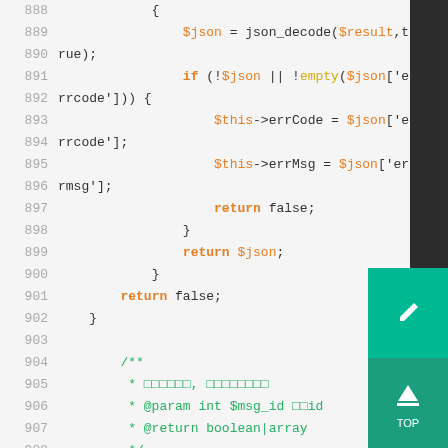[Figure (screenshot): PHP source code viewer showing lines 888-908 with syntax highlighting. Line numbers in gray, keywords in orange, variables in orange, strings in green, comments in green. A teal floating action button appears at bottom right.]